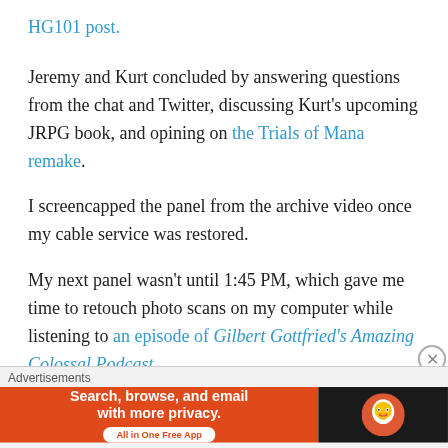HG101 post.
Jeremy and Kurt concluded by answering questions from the chat and Twitter, discussing Kurt's upcoming JRPG book, and opining on the Trials of Mana remake.
I screencapped the panel from the archive video once my cable service was restored.
My next panel wasn't until 1:45 PM, which gave me time to retouch photo scans on my computer while listening to an episode of Gilbert Gottfried's Amazing Colossal Podcast.
The 1:45 panel was a My Life in Gaming Q&A with channel creators Coury Carlson & Marc "Try4ce" ("Try" fo…
[Figure (infographic): DuckDuckGo advertisement banner: orange left section with text 'Search, browse, and email with more privacy.' and 'All in One Free App', dark right section with DuckDuckGo logo]